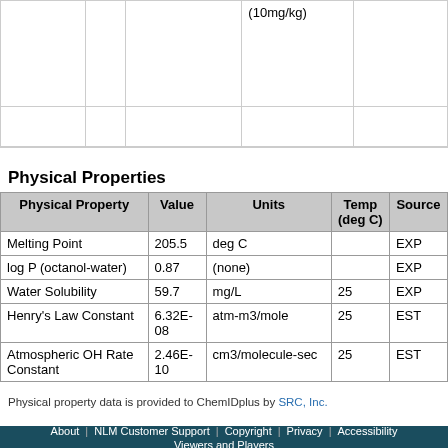|  |  |  | (10mg/kg) |  |
| --- | --- | --- | --- | --- |
|  |  |  |  |  |
Physical Properties
| Physical Property | Value | Units | Temp (deg C) | Source |
| --- | --- | --- | --- | --- |
| Melting Point | 205.5 | deg C |  | EXP |
| log P (octanol-water) | 0.87 | (none) |  | EXP |
| Water Solubility | 59.7 | mg/L | 25 | EXP |
| Henry's Law Constant | 6.32E-08 | atm-m3/mole | 25 | EST |
| Atmospheric OH Rate Constant | 2.46E-10 | cm3/molecule-sec | 25 | EST |
Physical property data is provided to ChemIDplus by SRC, Inc.
About | NLM Customer Support | Copyright | Privacy | Accessibility | Viewers and Players